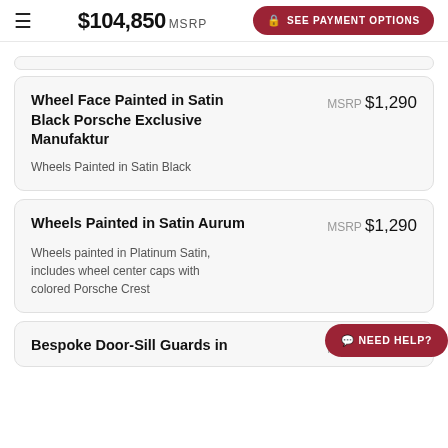$104,850 MSRP  SEE PAYMENT OPTIONS
Wheel Face Painted in Satin Black Porsche Exclusive Manufaktur
MSRP $1,290
Wheels Painted in Satin Black
Wheels Painted in Satin Aurum
MSRP $1,290
Wheels painted in Platinum Satin, includes wheel center caps with colored Porsche Crest
Bespoke Door-Sill Guards in
MSRP $1,280